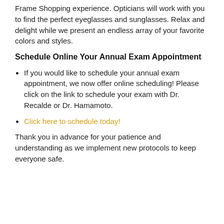Frame Shopping experience. Opticians will work with you to find the perfect eyeglasses and sunglasses. Relax and delight while we present an endless array of your favorite colors and styles.
Schedule Online Your Annual Exam Appointment
If you would like to schedule your annual exam appointment, we now offer online scheduling! Please click on the link to schedule your exam with Dr. Recalde or Dr. Hamamoto.
Click here to schedule today!
Thank you in advance for your patience and understanding as we implement new protocols to keep everyone safe.